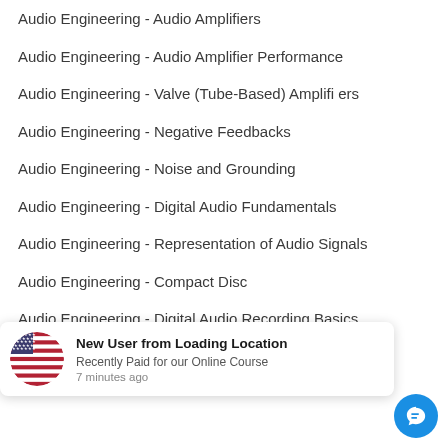Audio Engineering - Audio Amplifiers
Audio Engineering - Audio Amplifier Performance
Audio Engineering - Valve (Tube-Based) Amplifi ers
Audio Engineering - Negative Feedbacks
Audio Engineering - Noise and Grounding
Audio Engineering - Digital Audio Fundamentals
Audio Engineering - Representation of Audio Signals
Audio Engineering - Compact Disc
Audio Engineering - Digital Audio Recording Basics
Audio Engineering - Data Compression